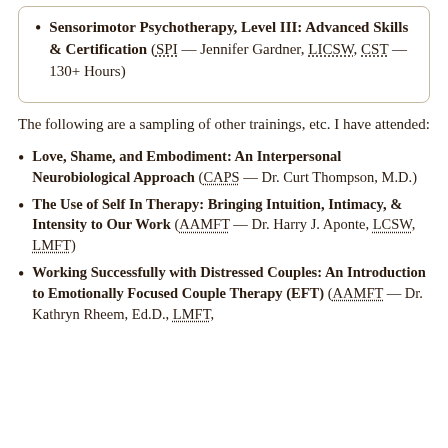Sensorimotor Psychotherapy, Level III: Advanced Skills & Certification (SPI — Jennifer Gardner, LICSW, CST — 130+ Hours)
The following are a sampling of other trainings, etc. I have attended:
Love, Shame, and Embodiment: An Interpersonal Neurobiological Approach (CAPS — Dr. Curt Thompson, M.D.)
The Use of Self In Therapy: Bringing Intuition, Intimacy, & Intensity to Our Work (AAMFT — Dr. Harry J. Aponte, LCSW, LMFT)
Working Successfully with Distressed Couples: An Introduction to Emotionally Focused Couple Therapy (EFT) (AAMFT — Dr. Kathryn Rheem, Ed.D., LMFT, Director of the Washington Baltimore Center of EFT…)